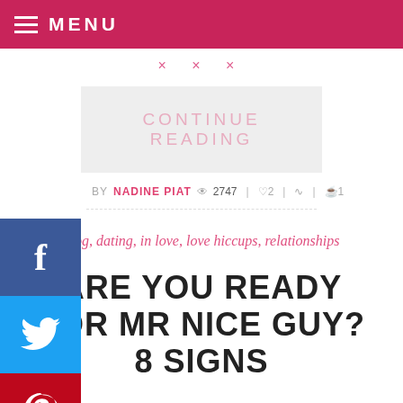MENU
× × ×
CONTINUE READING
BY NADINE PIAT  👁 2747  ♡2  Share  💬1
blog, dating, in love, love hiccups, relationships
ARE YOU READY FOR MR NICE GUY? 8 SIGNS